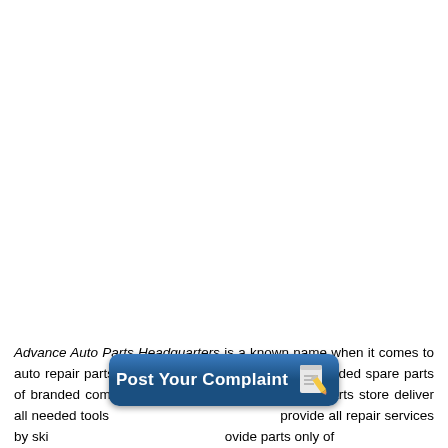Advance Auto Parts Headquarters is a known name when it comes to auto repair parts. The services station provide all needed spare parts of branded companies under wide range. The car parts store deliver all needed tools and provide all repair services by ski... ...ovide parts only of
[Figure (other): A dark blue rounded button with text 'Post Your Complaint' and a notepad-with-pencil icon on the right side]